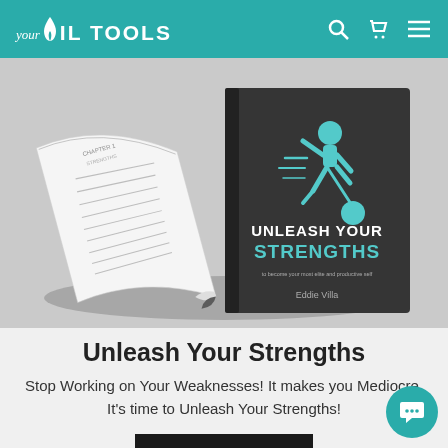your Oil TOOLS
[Figure (photo): Open book showing interior pages on the left and dark book cover on the right with teal illustration of a running figure and title 'UNLEASH YOUR STRENGTHS' by Eddie Villa]
Unleash Your Strengths
Stop Working on Your Weaknesses! It makes you Mediocre. It's time to Unleash Your Strengths!
Learn More